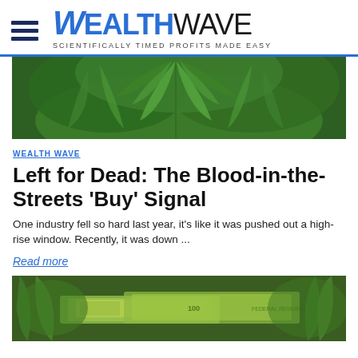WEALTHWAVE — SCIENTIFICALLY TIMED PROFITS MADE EASY
[Figure (photo): Close-up photo of cannabis/marijuana leaves, green, lush foliage]
WEALTH WAVE
Left for Dead: The Blood-in-the-Streets 'Buy' Signal
One industry fell so hard last year, it's like it was pushed out a high-rise window. Recently, it was down ...
Read more
[Figure (photo): Photo of US hundred dollar bills partially overlaid with cannabis/marijuana leaves]